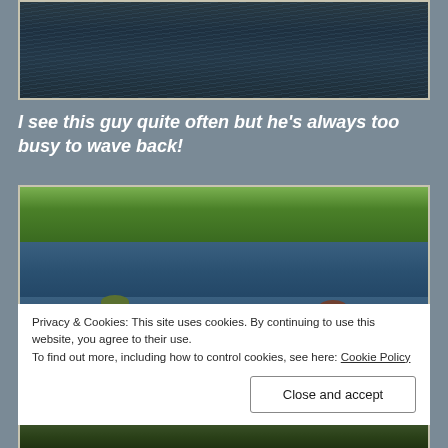[Figure (photo): Aerial or close-up view of dark water surface with ripples]
I see this guy quite often but he's always too busy to wave back!
[Figure (photo): Two people in a canoe or boat on a lake with green trees in background]
Privacy & Cookies: This site uses cookies. By continuing to use this website, you agree to their use.
To find out more, including how to control cookies, see here: Cookie Policy
[Figure (photo): Partial view of a third outdoor photo at the bottom, showing greenery]